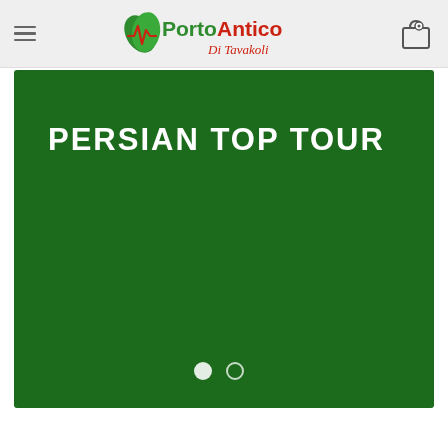[Figure (logo): Porto Antico Di Tavakoli logo with green leaf/wave icon and red/green text]
PERSIAN TOP TOUR
[Figure (screenshot): Green banner slideshow with PERSIAN TOP TOUR headline and two navigation dots at bottom]